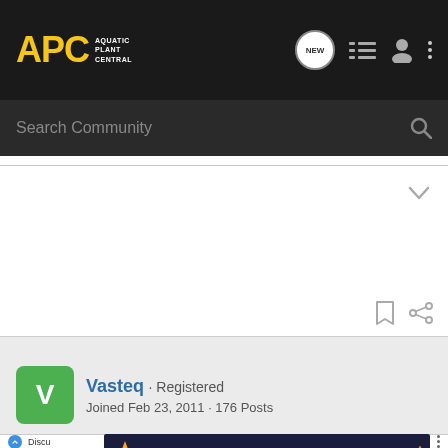[Figure (screenshot): APC Aquatic Plant Central navigation bar with logo, search bar, and icons]
Search Community
Vasteq · Registered
Joined Feb 23, 2011 · 176 Posts
[Figure (other): California Psychics advertisement banner: $1/ per minute* for new customers. Sign up now.]
Discu...